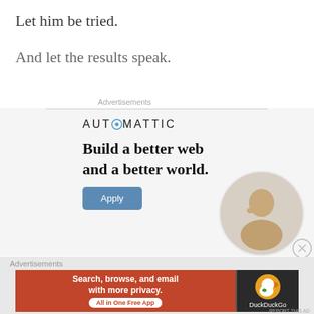Let him be tried.
And let the results speak.
Advertisements
[Figure (infographic): Automattic advertisement showing logo, tagline 'Build a better web and a better world.', Apply button, and circular photo of a man thinking]
[Figure (infographic): DuckDuckGo advertisement banner: 'Search, browse, and email with more privacy. All in One Free App' with DuckDuckGo logo on dark background]
Advertisements
REPORT THIS AD